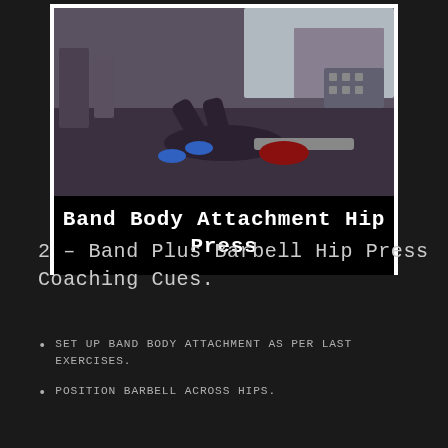[Figure (photo): Person performing a hip press exercise in a gym, lying on their back with knees bent, in a weight room with dumbbells and equipment visible in the background.]
Band Body Attachment Hip Press
2 – Band Plus Barbell Hip Press Coaching Cues.
SET UP BAND BODY ATTACHMENT AS PER LAST EXERCISES.
POSITION BARBELL ACROSS HIPS.